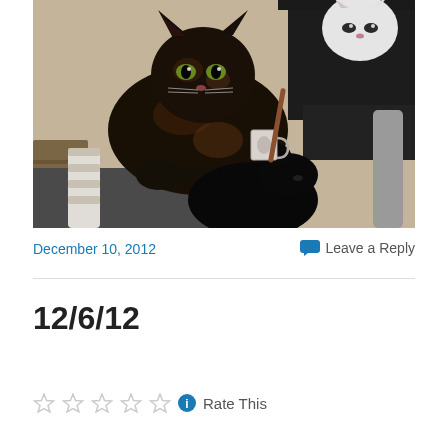[Figure (photo): Photo of cats on a cat tree. A dark tortoiseshell cat sits in the center-left looking at the camera, a white cat is visible in the upper right on a black cat tree platform, and a black cat is partially visible at the bottom. A mug is visible in the background.]
December 10, 2012
Leave a Reply
12/6/12
Rate This